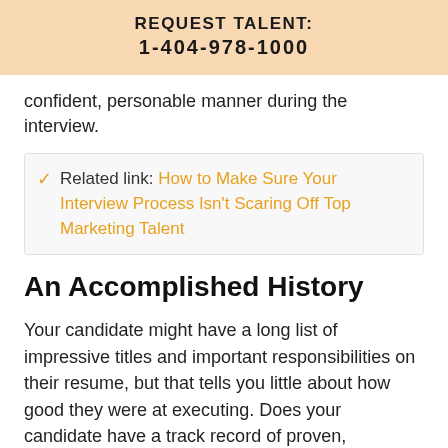REQUEST TALENT: 1-404-978-1000
confident, personable manner during the interview.
Related link: How to Make Sure Your Interview Process Isn't Scaring Off Top Marketing Talent
An Accomplished History
Your candidate might have a long list of impressive titles and important responsibilities on their resume, but that tells you little about how good they were at executing. Does your candidate have a track record of proven, demonstrable success that points toward better ROI?  Measure their track record of stepping into a role and making